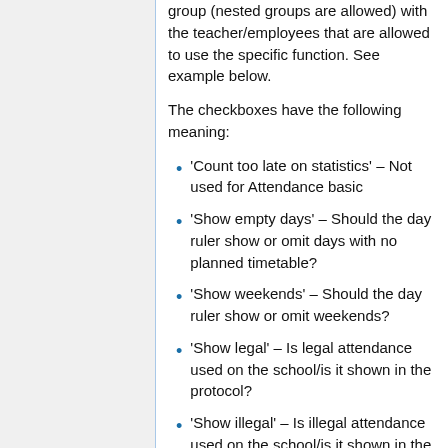group (nested groups are allowed) with the teacher/employees that are allowed to use the specific function. See example below.
The checkboxes have the following meaning:
'Count too late on statistics' – Not used for Attendance basic
'Show empty days' – Should the day ruler show or omit days with no planned timetable?
'Show weekends' – Should the day ruler show or omit weekends?
'Show legal' – Is legal attendance used on the school/is it shown in the protocol?
'Show illegal' – Is illegal attendance used on the school/is it shown in the protocol?
'Show...